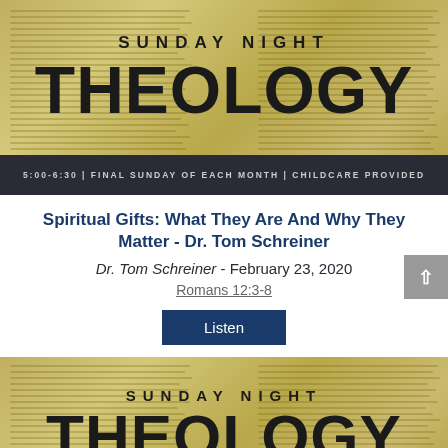[Figure (illustration): Sunday Night Theology banner with open Bible background. Text reads 'SUNDAY NIGHT' in spaced uppercase and 'THEOLOGY' in large bold black letters. Dark bar below reads '5:00-6:30 | FINAL SUNDAY OF EACH MONTH | CHILDCARE PROVIDED'.]
Spiritual Gifts: What They Are And Why They Matter - Dr. Tom Schreiner
Dr. Tom Schreiner - February 23, 2020
Romans 12:3-8
Listen
[Figure (illustration): Second Sunday Night Theology banner (partially visible) with open Bible background. Text reads 'SUNDAY NIGHT' and 'THEOLOGY' in large bold black letters.]